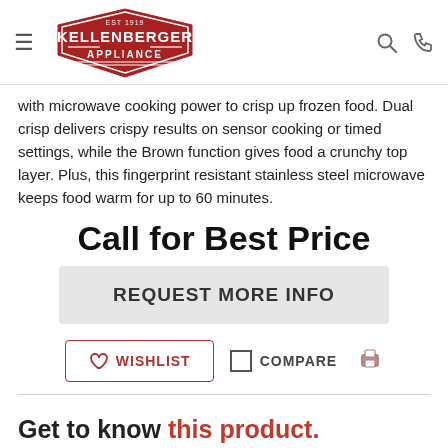Kellenberger Appliance
with microwave cooking power to crisp up frozen food. Dual crisp delivers crispy results on sensor cooking or timed settings, while the Brown function gives food a crunchy top layer. Plus, this fingerprint resistant stainless steel microwave keeps food warm for up to 60 minutes.
Call for Best Price
REQUEST MORE INFO
WISHLIST
COMPARE
Get to know this product.